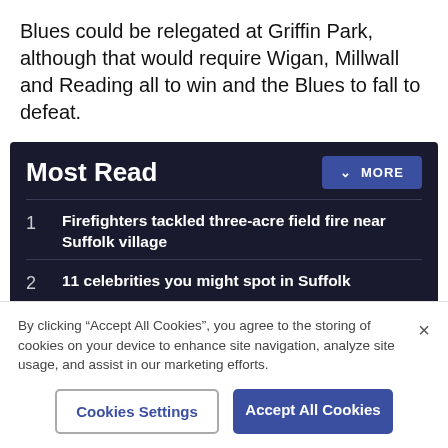Blues could be relegated at Griffin Park, although that would require Wigan, Millwall and Reading all to win and the Blues to fall to defeat.
Most Read
1 Firefighters tackled three-acre field fire near Suffolk village
2 11 celebrities you might spot in Suffolk
3 Historic Suffolk hotel and restaurant set for closure
By clicking "Accept All Cookies", you agree to the storing of cookies on your device to enhance site navigation, analyze site usage, and assist in our marketing efforts.